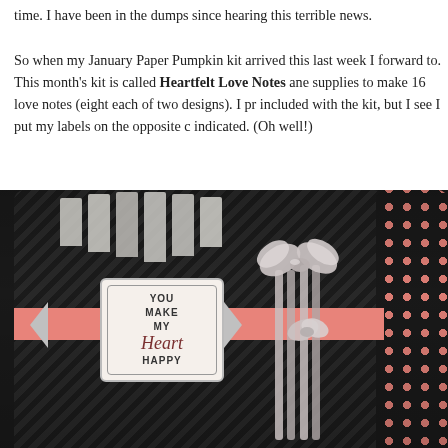time.  I have been in the dumps since hearing this terrible news.

So when my January Paper Pumpkin kit arrived this last week I forward to.  This month's kit is called Heartfelt Love Notes and supplies to make 16 love notes (eight each of two designs).  I pr included with the kit, but I see I put my labels on the opposite c indicated.  (Oh well!)
[Figure (photo): Photo of Paper Pumpkin Heartfelt Love Notes kit showing dark striped boxes/envelopes with pink ribbon band, a label card reading 'YOU MAKE MY Heart HAPPY', silver ribbons/bows, and a dark polka-dot box on the right.]